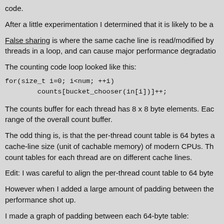code.
After a little experimentation I determined that it is likely to be a
False sharing is where the same cache line is read/modified by threads in a loop, and can cause major performance degradatio
The counting code loop looked like this:
The counts buffer for each thread has 8 x 8 byte elements. Eac range of the overall count buffer.
The odd thing is, is that the per-thread count table is 64 bytes a cache-line size (unit of cachable memory) of modern CPUs. Th count tables for each thread are on different cache lines.
Edit: I was careful to align the per-thread count table to 64 byte
However when I added a large amount of padding between the performance shot up.
I made a graph of padding between each 64-byte table: